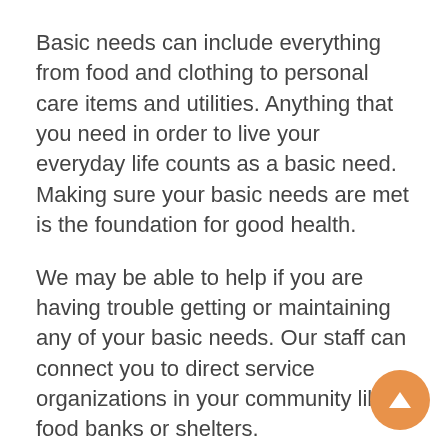Basic needs can include everything from food and clothing to personal care items and utilities. Anything that you need in order to live your everyday life counts as a basic need. Making sure your basic needs are met is the foundation for good health.
We may be able to help if you are having trouble getting or maintaining any of your basic needs. Our staff can connect you to direct service organizations in your community like food banks or shelters.
We can also help you complete applications and follow-up with other organizations. For example, if you are having difficulty affording food, a staff member could assist you in applying for the government assistance Supplemental Nutrition program (SNAP). They could follow up on the progress of the application. Knowing that someone